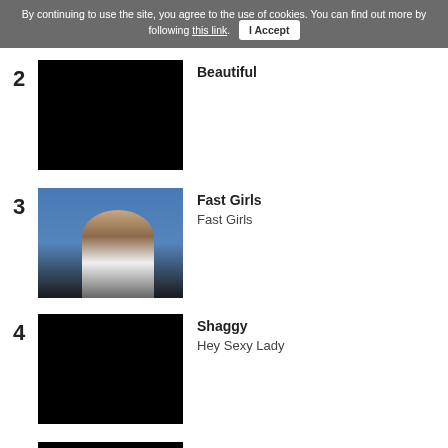By continuing to use the site, you agree to the use of cookies. You can find out more by following this link. I Accept
2 Beautiful
3 Fast Girls / Fast Girls
4 Shaggy / Hey Sexy Lady
5 Air